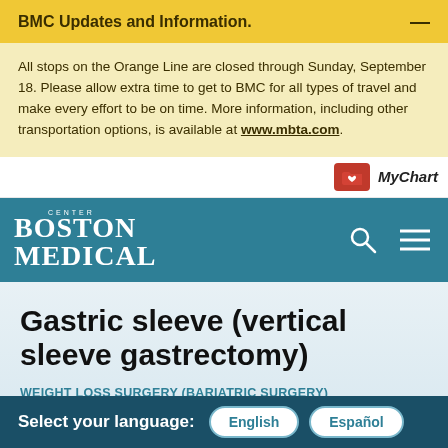BMC Updates and Information.
All stops on the Orange Line are closed through Sunday, September 18. Please allow extra time to get to BMC for all types of travel and make every effort to be on time. More information, including other transportation options, is available at www.mbta.com.
[Figure (logo): MyChart logo with red folder icon and heart]
[Figure (logo): Boston Medical Center logo in white on teal navigation bar with search and menu icons]
Gastric sleeve (vertical sleeve gastrectomy)
WEIGHT LOSS SURGERY (BARIATRIC SURGERY)
Select your language: English  Español